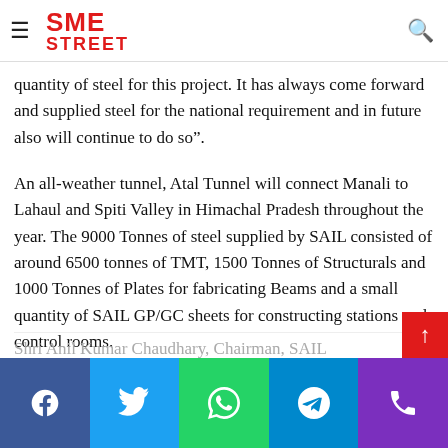SME STREET
connecting the Spiti Valley. This is an achievement under very challenging conditions of the construction site and weather. SAIL has supplied a large quantity of steel for this project. It has always come forward and supplied steel for the national requirement and in future also will continue to do so”.
An all-weather tunnel, Atal Tunnel will connect Manali to Lahaul and Spiti Valley in Himachal Pradesh throughout the year. The 9000 Tonnes of steel supplied by SAIL consisted of around 6500 tonnes of TMT, 1500 Tonnes of Structurals and 1000 Tonnes of Plates for fabricating Beams and a small quantity of SAIL GP/GC sheets for constructing stations and control rooms.
Shri Anil Kumar Chaudhary, Chairman, SAIL
Facebook Twitter WhatsApp Telegram Phone